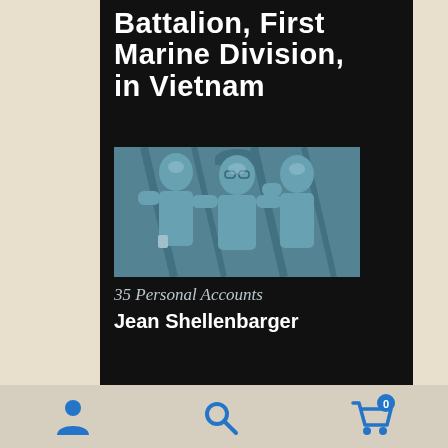[Figure (illustration): Book cover with black background showing partial title 'Battalion, First Marine Division, in Vietnam', a teal-toned photograph of three shirtless young men (Marines) posing together, subtitle '35 Personal Accounts', and author 'Jean Shellenbarger']
Battalion, First Marine Division, in Vietnam
35 Personal Accounts
Jean Shellenbarger
[Figure (screenshot): Bottom navigation bar with three icons: user/person icon (left), search/magnifying glass icon (center), shopping cart icon with badge showing '0' (right)]